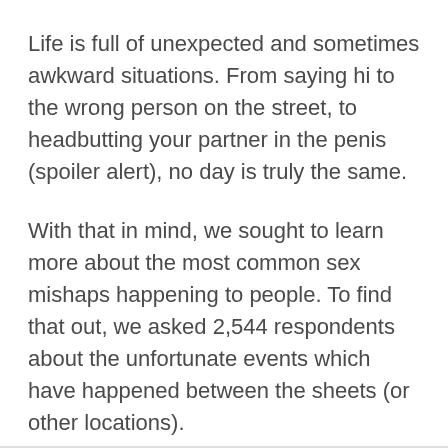Life is full of unexpected and sometimes awkward situations. From saying hi to the wrong person on the street, to headbutting your partner in the penis (spoiler alert), no day is truly the same.
With that in mind, we sought to learn more about the most common sex mishaps happening to people. To find that out, we asked 2,544 respondents about the unfortunate events which have happened between the sheets (or other locations).